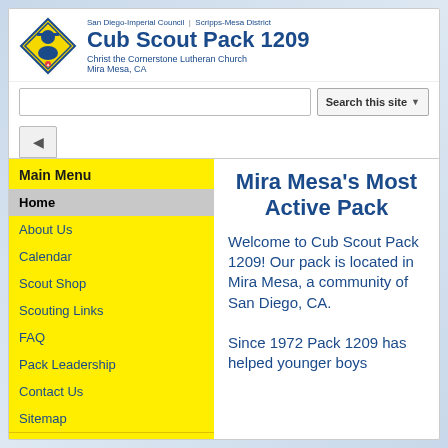San Diego-Imperial Council | Scripps-Mesa District
Cub Scout Pack 1209
Christ the Cornerstone Lutheran Church
Mira Mesa, CA
Search this site
Main Menu
Home
About Us
Calendar
Scout Shop
Scouting Links
FAQ
Pack Leadership
Contact Us
Sitemap
Charter Info
Christ the Cornerstone Lutheran Church
Mira Mesa's Most Active Pack
Welcome to Cub Scout Pack 1209! Our pack is located in Mira Mesa, a community of San Diego, CA.

Since 1972 Pack 1209 has helped younger boys